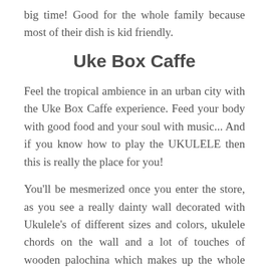big time! Good for the whole family because most of their dish is kid friendly.
Uke Box Caffe
Feel the tropical ambience in an urban city with the Uke Box Caffe experience. Feed your body with good food and your soul with music... And if you know how to play the UKULELE then this is really the place for you!
You'll be mesmerized once you enter the store, as you see a really dainty wall decorated with Ukulele's of different sizes and colors, ukulele chords on the wall and a lot of touches of wooden palochina which makes up the whole interior of the place. Aside from regular tables, they have double-deck bunks with bean bags and beach themed